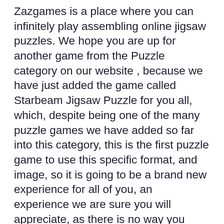Zazgames is a place where you can infinitely play assembling online jigsaw puzzles. We hope you are up for another game from the Puzzle category on our website , because we have just added the game called Starbeam Jigsaw Puzzle for you all, which, despite being one of the many puzzle games we have added so far into this category, this is the first puzzle game to use this specific format, and image, so it is going to be a brand new experience for all of you, an experience we are sure you will appreciate, as there is no way you aren't going to have a lot of fun playing the game. Especially after you learn how to play it from the next lines in the description. you will start by choosing how you want the jigsaw puzzle be : hard medium or easy. After that, the jigsaw puzzle pieces are going to be spread around the game screen randomly. Use the mouse to drag them over the transparent images where they match with the image, until all the pieces are connected, and the image looks just like it did in the beginning. You will have a great time with the game, so start it right now, and we